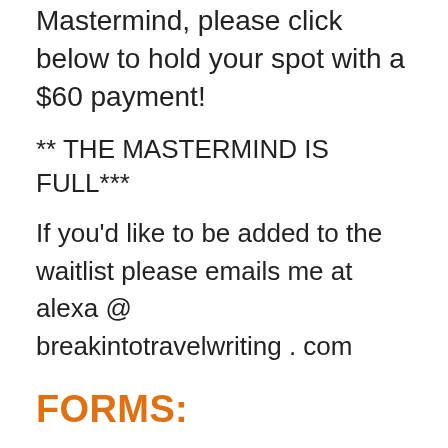Mastermind, please click below to hold your spot with a $60 payment!
** THE MASTERMIND IS FULL***
If you'd like to be added to the waitlist please emails me at alexa @ breakintotravelwriting . com
FORMS:
Please fill out these two forms if you are confirmed for the Mastermind: